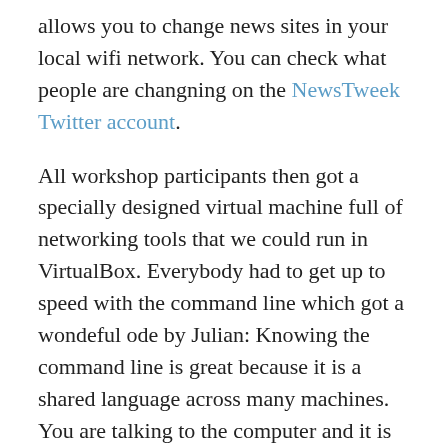allows you to change news sites in your local wifi network. You can check what people are changning on the NewsTweek Twitter account.
All workshop participants then got a specially designed virtual machine full of networking tools that we could run in VirtualBox. Everybody had to get up to speed with the command line which got a wondeful ode by Julian: Knowing the command line is great because it is a shared language across many machines. You are talking to the computer and it is talking straight back to you. You ask and the computer responds. You can take the output of one program and make it the input of the next program. It allows you to automate the operating system (rather than the computer turning you into a proletarian clicking machine). The command line is far from going away. As computers get smaller, the command line interaction becomes a dominant model.